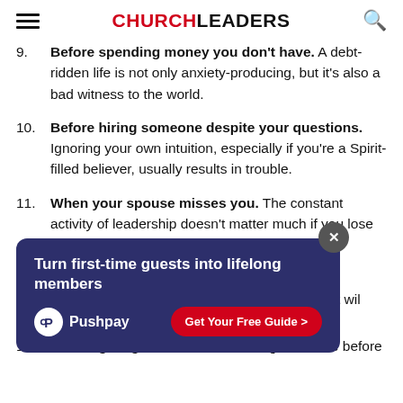CHURCHLEADERS
9. Before spending money you don't have. A debt-ridden life is not only anxiety-producing, but it's also a bad witness to the world.
10. Before hiring someone despite your questions. Ignoring your own intuition, especially if you're a Spirit-filled believer, usually results in trouble.
11. When your spouse misses you. The constant activity of leadership doesn't matter much if you lose your family in the process.
12. Before you adopt the latest fad for your organization. Just because everyone else is doing something doesn't guarantee it will work for you. Before you adopt something new, you should...
[Figure (infographic): Pushpay advertisement overlay: 'Turn first-time guests into lifelong members' with Pushpay logo and 'Get Your Free Guide >' button on dark blue background.]
13. Before giving advice. Some of us give advice before